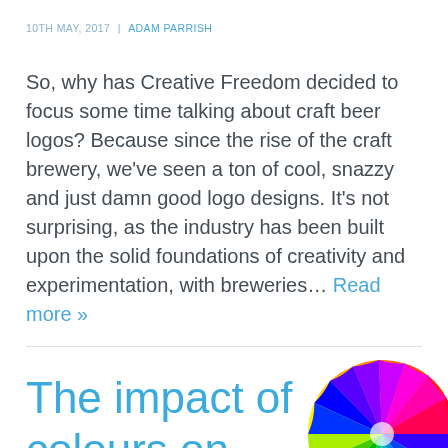10TH MAY, 2017  |  ADAM PARRISH
So, why has Creative Freedom decided to focus some time talking about craft beer logos? Because since the rise of the craft brewery, we've seen a ton of cool, snazzy and just damn good logo designs. It's not surprising, as the industry has been built upon the solid foundations of creativity and experimentation, with breweries… Read more »
The impact of colours on
[Figure (illustration): A color wheel showing a spectrum of colours arranged in a semicircle, with red at the top right transitioning through magenta, purple, blue, cyan, green, yellow and back to red.]